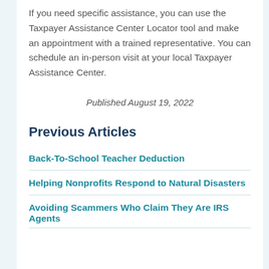If you need specific assistance, you can use the Taxpayer Assistance Center Locator tool and make an appointment with a trained representative. You can schedule an in-person visit at your local Taxpayer Assistance Center.
Published August 19, 2022
Previous Articles
Back-To-School Teacher Deduction
Helping Nonprofits Respond to Natural Disasters
Avoiding Scammers Who Claim They Are IRS Agents